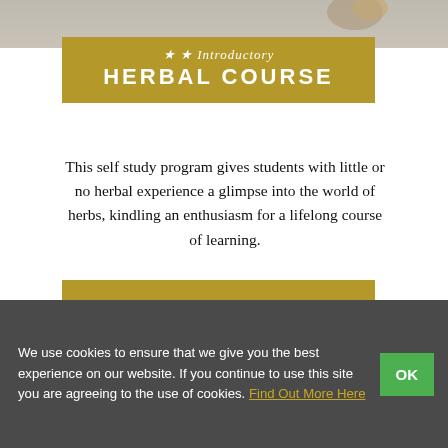[Figure (photo): Top portion of a photo showing herbs/ingredients on a light marble or wooden surface]
★ ★ Introductory HERBAL COURSE
This self study program gives students with little or no herbal experience a glimpse into the world of herbs, kindling an enthusiasm for a lifelong course of learning.
LEARN MORE
We use cookies to ensure that we give you the best experience on our website. If you continue to use this site you are agreeing to the use of cookies. Find Out More Here
OK